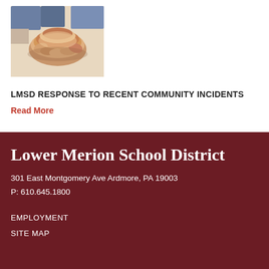[Figure (photo): Photo of multiple hands stacked together in a team gesture, viewed from above]
LMSD RESPONSE TO RECENT COMMUNITY INCIDENTS
Read More
Lower Merion School District
301 East Montgomery Ave Ardmore, PA 19003
P: 610.645.1800
EMPLOYMENT
SITE MAP